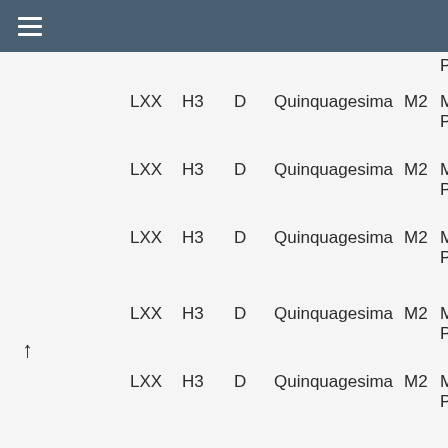≡
| LXX | H3 | D | Quinquagesima | M2 | Mass
Prope |
| --- | --- | --- | --- | --- | --- |
| LXX | H3 | D | Quinquagesima | M2 | Mass Prope |
| LXX | H3 | D | Quinquagesima | M2 | Mass Prope |
| LXX | H3 | D | Quinquagesima | M2 | Mass Prope |
| LXX | H3 | D | Quinquagesima | M2 | Mass Prope |
| LXX | H3 | D | Quinquagesima | M2 | Mass Prope |
| LXX | H3 | D | Quinquagesima | M2 | Mass Prope |